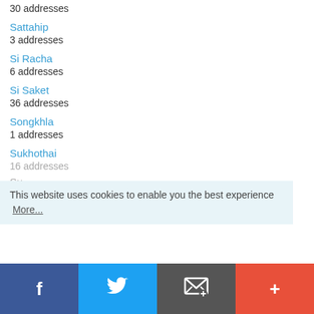30 addresses
Sattahip
3 addresses
Si Racha
6 addresses
Si Saket
36 addresses
Songkhla
1 addresses
Sukhothai
16 addresses
Su...
12 addresses
This website uses cookies to enable you the best experience  More...
Facebook | Twitter | Email | +